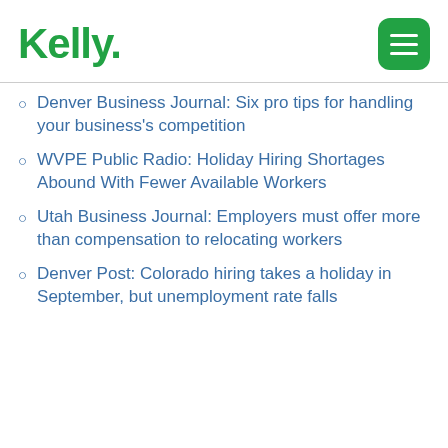Kelly
Denver Business Journal: Six pro tips for handling your business's competition
WVPE Public Radio: Holiday Hiring Shortages Abound With Fewer Available Workers
Utah Business Journal: Employers must offer more than compensation to relocating workers
Denver Post: Colorado hiring takes a holiday in September, but unemployment rate falls